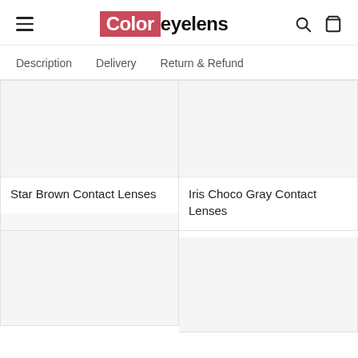Color eyelens — navigation header with hamburger menu, logo, search and cart icons
Description   Delivery   Return & Refund
Star Brown Contact Lenses
Iris Choco Gray Contact Lenses